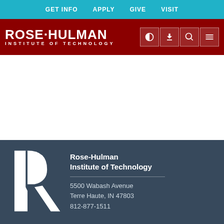GET INFO  APPLY  GIVE  VISIT
[Figure (logo): Rose-Hulman Institute of Technology logo with navigation icons (contrast, download, search, menu)]
[Figure (logo): Rose-Hulman R monogram logo in white on dark blue-grey footer background]
Rose-Hulman Institute of Technology
5500 Wabash Avenue
Terre Haute, IN 47803
812-877-1511